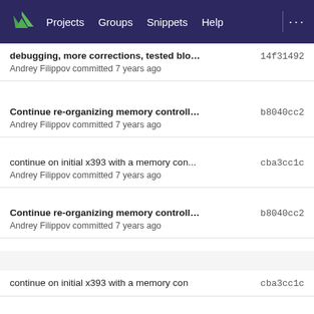Projects  Groups  Snippets  Help  ...
debugging, more corrections, tested block ...  14f31492
Andrey Filippov committed 7 years ago
Continue re-organizing memory controller f...  b8040cc2
Andrey Filippov committed 7 years ago
continue on initial x393 with a memory con...  cba3cc1c
Andrey Filippov committed 7 years ago
Continue re-organizing memory controller f...  b8040cc2
Andrey Filippov committed 7 years ago
continue on initial x393 with a memory con...  cba3cc1c
Andrey Filippov committed 7 years ago
Continue re-organizing memory controller f...  b8040cc2
Andrey Filippov committed 7 years ago
continue on initial x393 with a memory con  cba3cc1c
Andrey Filippov committed 7 years ago